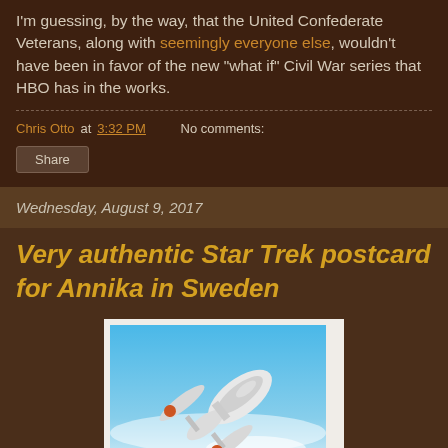I'm guessing, by the way, that the United Confederate Veterans, along with seemingly everyone else, wouldn't have been in favor of the new "what if" Civil War series that HBO has in the works.
Chris Otto at 3:32 PM   No comments:
Share
Wednesday, August 9, 2017
Very authentic Star Trek postcard for Annika in Sweden
[Figure (photo): Postcard showing a Star Trek starship (USS Enterprise) flying upward against a blue sky with clouds]